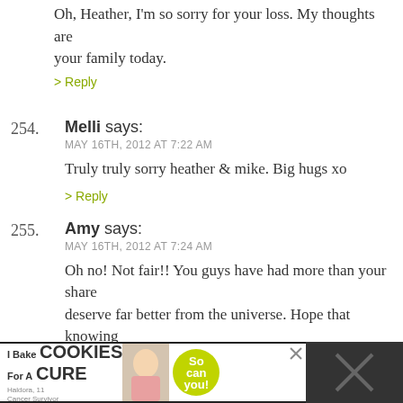Oh, Heather, I'm so sorry for your loss. My thoughts are with your family today.
> Reply
254. Melli says:
MAY 16TH, 2012 AT 7:22 AM
Truly truly sorry heather & mike. Big hugs xo
> Reply
255. Amy says:
MAY 16TH, 2012 AT 7:24 AM
Oh no! Not fair!! You guys have had more than your share and deserve far better from the universe. Hope that knowing you are loved by all of us here on the interwebs is at least a little comfort. Sending love and cyberhugs.
> Reply
256. Mary says:
[Figure (screenshot): Advertisement banner: 'I Bake COOKIES For A CURE' with photo of girl and green 'cookies for kids cancer' badge, close button, and dark panels on sides.]